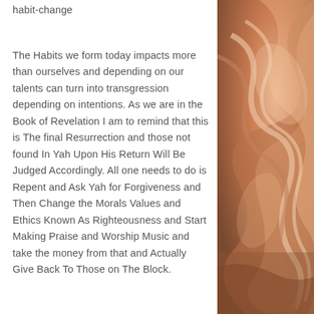habit-change
The Habits we form today impacts more than ourselves and depending on our talents can turn into transgression depending on intentions. As we are in the Book of Revelation I am to remind that this is The final Resurrection and those not found In Yah Upon His Return Will Be Judged Accordingly. All one needs to do is Repent and Ask Yah for Forgiveness and Then Change the Morals Values and Ethics Known As Righteousness and Start Making Praise and Worship Music and take the money from that and Actually Give Back To Those on The Block.
[Figure (illustration): Decorative swirling abstract illustration in warm earth tones — oranges, browns, and tans — occupying the right portion of the page.]